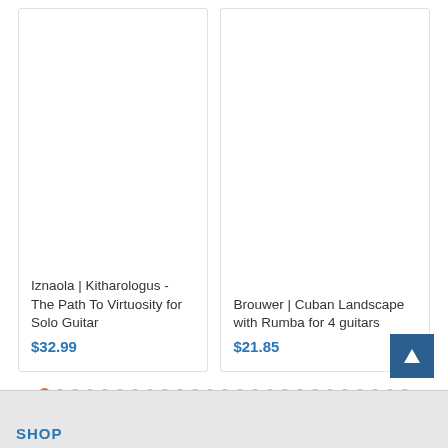[Figure (other): Product card showing Iznaola | Kitharologus - The Path To Virtuosity for Solo Guitar priced at $32.99]
[Figure (other): Product card showing Brouwer | Cuban Landscape with Rumba for 4 guitars priced at $21.85]
Pagination dots — 1 active (orange), 24 inactive (blue-gray), plus one additional dot below
Back to top button (dark blue square with white up-arrow triangle)
SHOP